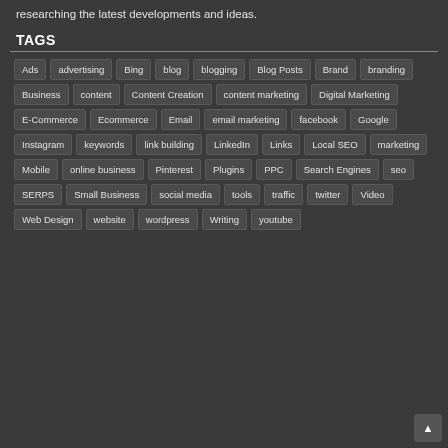researching the latest developments and ideas.
TAGS
Ads
advertising
Bing
blog
blogging
Blog Posts
Brand
branding
Business
content
Content Creation
content marketing
Digital Marketing
E-Commerce
Ecommerce
Email
email marketing
facebook
Google
Instagram
keywords
link building
LinkedIn
Links
Local SEO
marketing
Mobile
online business
Pinterest
Plugins
PPC
Search Engines
seo
SERPS
Small Business
social media
tools
traffic
twitter
Video
Web Design
website
wordpress
Writing
youtube